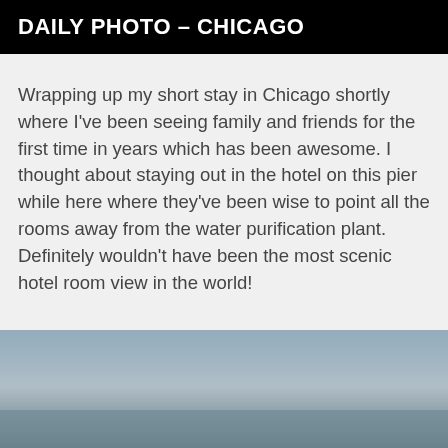DAILY PHOTO – CHICAGO
Wrapping up my short stay in Chicago shortly where I've been seeing family and friends for the first time in years which has been awesome. I thought about staying out in the hotel on this pier while here where they've been wise to point all the rooms away from the water purification plant. Definitely wouldn't have been the most scenic hotel room view in the world!
[Figure (photo): A photo showing a hazy sky over water, likely Lake Michigan near Chicago, with a muted blue-gray gradient sky and water visible at the bottom of the frame.]